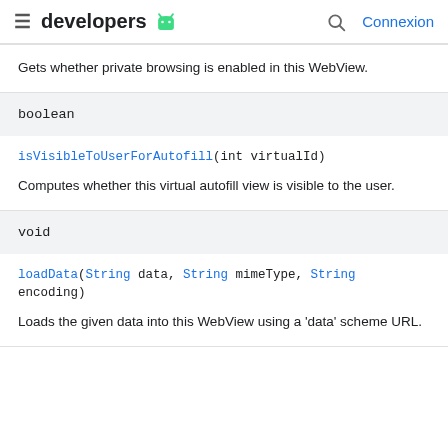≡ developers 🤖  🔍 Connexion
Gets whether private browsing is enabled in this WebView.
boolean
isVisibleToUserForAutofill(int virtualId)
Computes whether this virtual autofill view is visible to the user.
void
loadData(String data, String mimeType, String encoding)
Loads the given data into this WebView using a 'data' scheme URL.